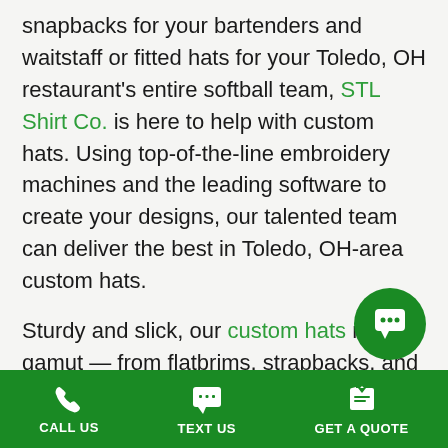snapbacks for your bartenders and waitstaff or fitted hats for your Toledo, OH restaurant's entire softball team, STL Shirt Co. is here to help with custom hats. Using top-of-the-line embroidery machines and the leading software to create your designs, our talented team can deliver the best in Toledo, OH-area custom hats.
Sturdy and slick, our custom hats run the gamut — from flatbrims, strapbacks, and trucker hats to dad hats, five panels, and visors to buckets, toques, and beanies — STL Shirt Co. designs and embroiders them all. Give us a call today at 636-926-2777 or contact us online.
“Shirt” may be in our name, and we certainly enjoy designing and printing them for our Toledo, OH
CALL US   TEXT US   GET A QUOTE